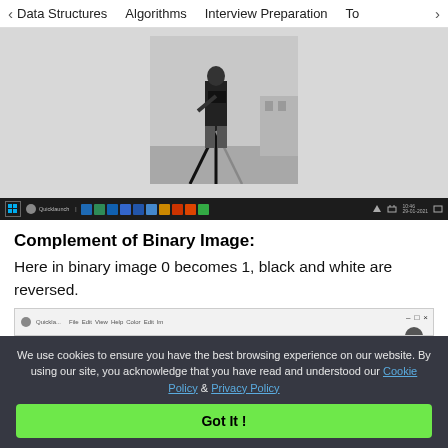< Data Structures  Algorithms  Interview Preparation  To>
[Figure (screenshot): Screenshot showing a black and white photograph of a person with a camera tripod, displayed in a desktop application window with a taskbar at the bottom showing various system icons.]
Complement of Binary Image:
Here in binary image 0 becomes 1, black and white are reversed.
[Figure (screenshot): Partial view of a small GUI window strip with minimize, maximize, close buttons and some menu items.]
We use cookies to ensure you have the best browsing experience on our website. By using our site, you acknowledge that you have read and understood our Cookie Policy & Privacy Policy
Got It !